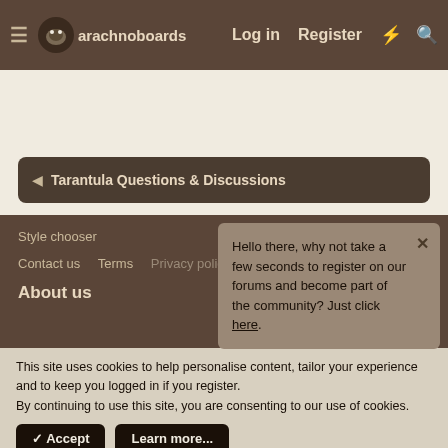arachnoboards — Log in  Register
◄ Tarantula Questions & Discussions
Style chooser
Contact us  Terms  ...
About us
Hello there, why not take a few seconds to register on our forums and become part of the community? Just click here.
This site uses cookies to help personalise content, tailor your experience and to keep you logged in if you register.
By continuing to use this site, you are consenting to our use of cookies.
✓ Accept   Learn more...